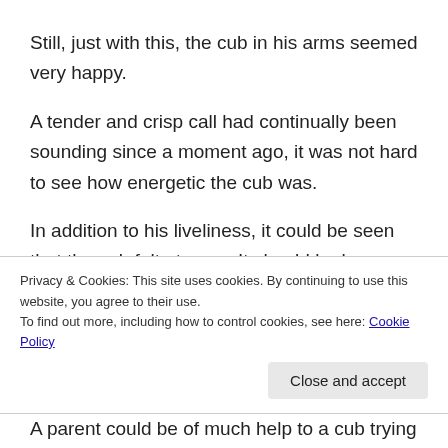Still, just with this, the cub in his arms seemed very happy.
A tender and crisp call had continually been sounding since a moment ago, it was not hard to see how energetic the cub was.
In addition to his liveliness, it could be seen that the cub felt at ease. It should be because he got a
Privacy & Cookies: This site uses cookies. By continuing to use this website, you agree to their use.
To find out more, including how to control cookies, see here: Cookie Policy
Close and accept
A parent could be of much help to a cub trying to